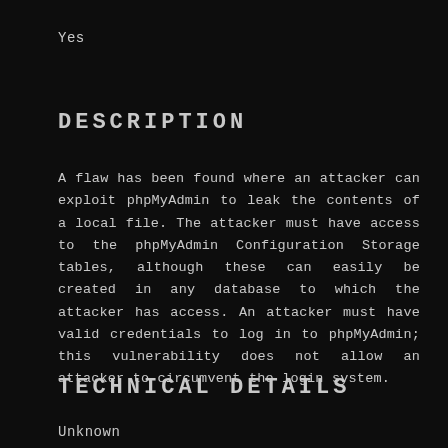Yes
DESCRIPTION
A flaw has been found where an attacker can exploit phpMyAdmin to leak the contents of a local file. The attacker must have access to the phpMyAdmin Configuration Storage tables, although these can easily be created in any database to which the attacker has access. An attacker must have valid credentials to log in to phpMyAdmin; this vulnerability does not allow an attacker to circumvent the login system.
TECHNICAL DETAILS
Unknown